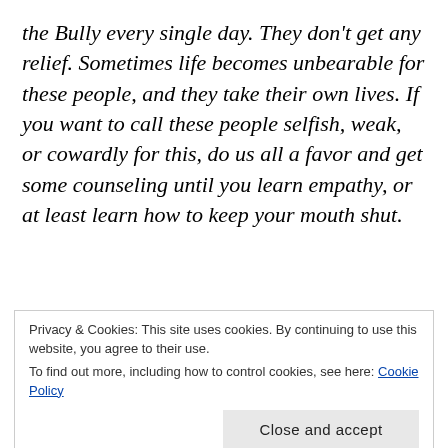the Bully every single day. They don't get any relief. Sometimes life becomes unbearable for these people, and they take their own lives. If you want to call these people selfish, weak, or cowardly for this, do us all a favor and get some counseling until you learn empathy, or at least learn how to keep your mouth shut.
2. If you have heard its voice, then know that the Bully is not your friend. It is not your
Privacy & Cookies: This site uses cookies. By continuing to use this website, you agree to their use.
To find out more, including how to control cookies, see here: Cookie Policy
Close and accept
world, a world where things are not as they are